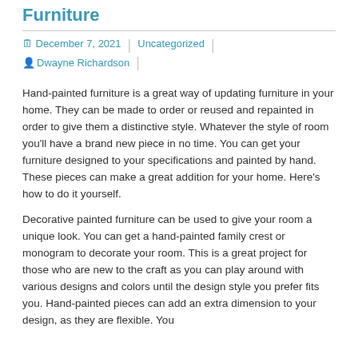Furniture
December 7, 2021  |  Uncategorized  |  Dwayne Richardson
Hand-painted furniture is a great way of updating furniture in your home. They can be made to order or reused and repainted in order to give them a distinctive style. Whatever the style of room you'll have a brand new piece in no time. You can get your furniture designed to your specifications and painted by hand. These pieces can make a great addition for your home. Here's how to do it yourself.
Decorative painted furniture can be used to give your room a unique look. You can get a hand-painted family crest or monogram to decorate your room. This is a great project for those who are new to the craft as you can play around with various designs and colors until the design style you prefer fits you. Hand-painted pieces can add an extra dimension to your design, as they are flexible. You